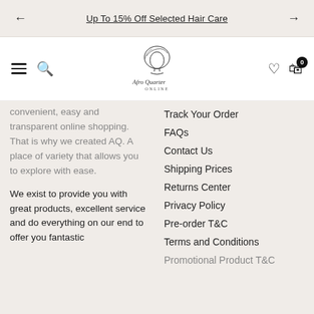Up To 15% Off Selected Hair Care
[Figure (logo): Afro Quarter Online logo — line-art silhouette of a woman with afro hair, with stylized cursive text 'Afro Quarter Online' below]
convenient, easy and transparent online shopping. That is why we created AQ. A place of variety that allows you to explore with ease.
We exist to provide you with great products, excellent service and do everything on our end to offer you fantastic
Track Your Order
FAQs
Contact Us
Shipping Prices
Returns Center
Privacy Policy
Pre-order T&C
Terms and Conditions
Promotional Product T&C